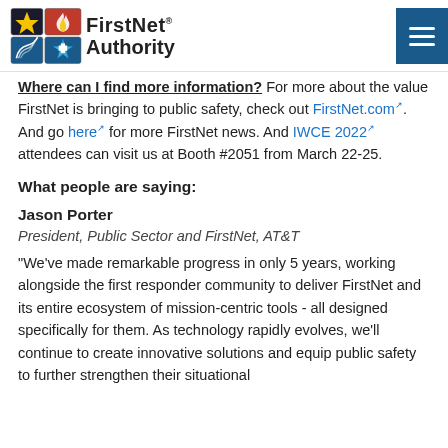FirstNet Authority
Where can I find more information? For more about the value FirstNet is bringing to public safety, check out FirstNet.com. And go here for more FirstNet news. And IWCE 2022 attendees can visit us at Booth #2051 from March 22-25.
What people are saying:
Jason Porter
President, Public Sector and FirstNet, AT&T
"We've made remarkable progress in only 5 years, working alongside the first responder community to deliver FirstNet and its entire ecosystem of mission-centric tools - all designed specifically for them. As technology rapidly evolves, we'll continue to create innovative solutions and equip public safety to further strengthen their situational